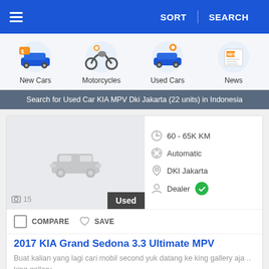SORT  SEARCH
[Figure (screenshot): App navigation category icons: New Cars, Motorcycles, Used Cars, News]
Search for Used Car KIA MPV Dki Jakarta (22 units) in Indonesia
[Figure (photo): Car listing card image placeholder with grey background showing car silhouette, photo count 15, Used badge]
60 - 65K KM
Automatic
DKI Jakarta
Dealer
COMPARE  SAVE
2017 KIA Grand Sedona 3.3 Ultimate MPV
Buat kalian yang lagi cari mobil second yuk datang ke king gallery aja .. king gallery ...